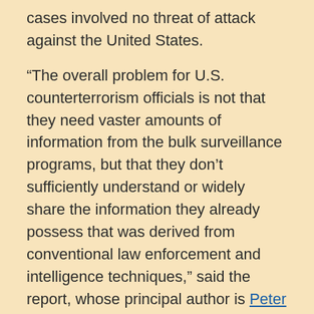cases involved no threat of attack against the United States.
“The overall problem for U.S. counterterrorism officials is not that they need vaster amounts of information from the bulk surveillance programs, but that they don’t sufficiently understand or widely share the information they already possess that was derived from conventional law enforcement and intelligence techniques,” said the report, whose principal author is Peter Bergen, director of the foundation’s National Security Program and an expert on terrorism.
In at least 48 instances, traditional surveillance warrants obtained from the Foreign Intelligence